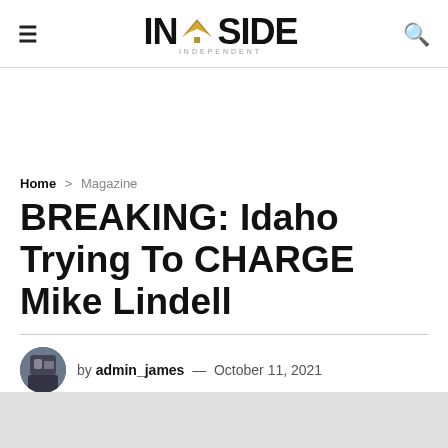≡  INSIDE INDEPENDENT  🔍
Home > Magazine
BREAKING: Idaho Trying To CHARGE Mike Lindell
by admin_james — October 11, 2021
Reading Time: 4 mins read